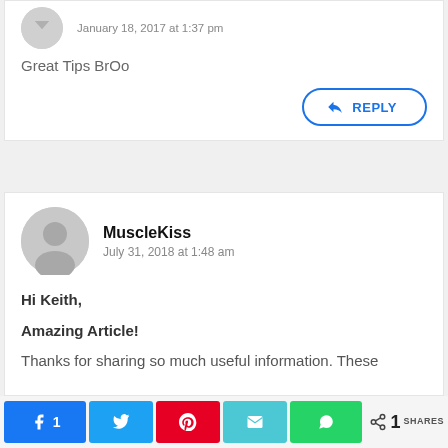January 18, 2017 at 1:37 pm
Great Tips BrOo
REPLY
MuscleKiss
July 31, 2018 at 1:48 am
Hi Keith,
Amazing Article!
Thanks for sharing so much useful information. These